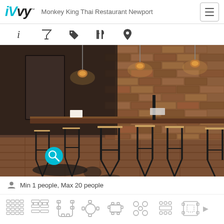iVvy — Monkey King Thai Restaurant Newport
[Figure (photo): Interior photo of Monkey King Thai Restaurant Newport showing industrial-style bar seating with black metal stools with wooden seats along a rustic exposed brick wall. Warm pendant lights illuminate the space with wooden-plank flooring.]
Min 1 people, Max 20 people
[Figure (infographic): Row of seating arrangement icons at the bottom of the page]